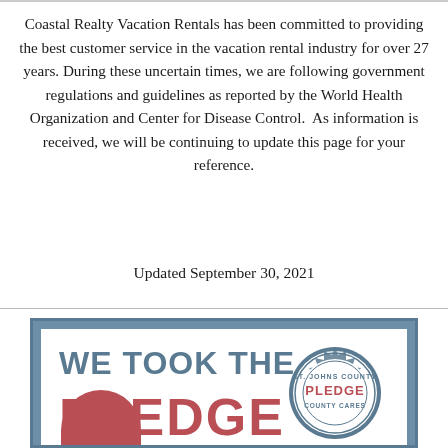Coastal Realty Vacation Rentals has been committed to providing the best customer service in the vacation rental industry for over 27 years. During these uncertain times, we are following government regulations and guidelines as reported by the World Health Organization and Center for Disease Control. As information is received, we will be continuing to update this page for your reference.
Updated September 30, 2021
[Figure (infographic): A pledge badge graphic with steel-blue border containing white interior. Large bold text reads 'WE TOOK THE' in steel blue and 'PLEDGE' in red/rose color. A circular seal badge on the right reads 'ST. JOHNS COUNTY PLEDGE' with decorative edging. Partial red circle visible at bottom left.]